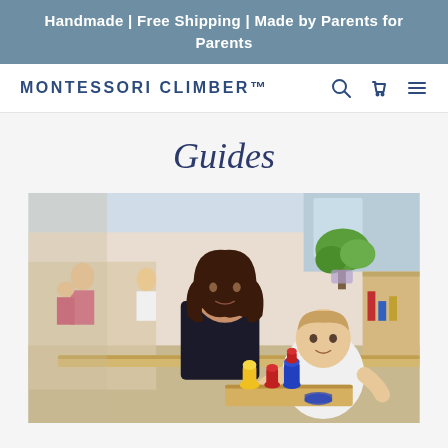Handmade | Free Shipping | Made by Parents for Parents
MONTESSORI CLIMBER™
Guides
[Figure (photo): A woman (teacher/parent) seated at a table with a toddler who is playing with colorful peg toys (yellow, red, and blue) on a wooden board. In the background, other children and adults are visible in a bright Montessori classroom setting with natural wood furniture, a green plant, and colorful materials.]